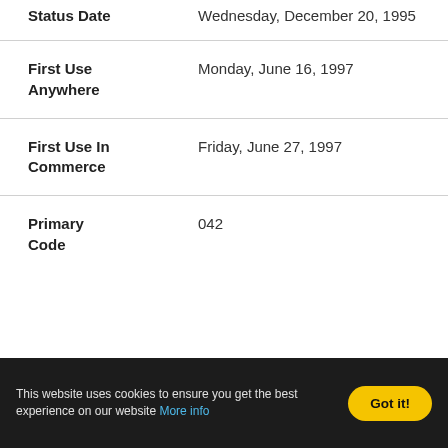| Field | Value |
| --- | --- |
| Status Date | Wednesday, December 20, 1995 |
| First Use Anywhere | Monday, June 16, 1997 |
| First Use In Commerce | Friday, June 27, 1997 |
| Primary Code | 042 |
This website uses cookies to ensure you get the best experience on our website More info
Got it!